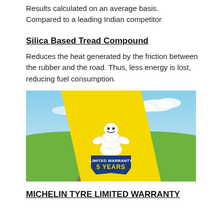Results calculated on an average basis. Compared to a leading Indian competitor
Silica Based Tread Compound
Reduces the heat generated by the friction between the rubber and the road. Thus, less energy is lost, reducing fuel consumption.
[Figure (illustration): Michelin promotional banner showing a road stretching into the horizon with green fields, sky, and a yellow diagonal stripe featuring the Michelin Man mascot with a blue badge reading 'LIMITED WARRANTY 5 YEARS']
MICHELIN TYRE LIMITED WARRANTY